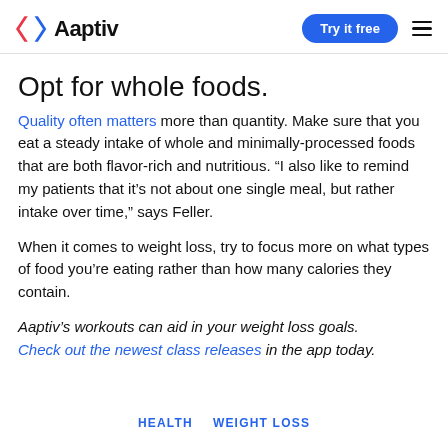Aaptiv | Try it free
Opt for whole foods.
Quality often matters more than quantity. Make sure that you eat a steady intake of whole and minimally-processed foods that are both flavor-rich and nutritious. “I also like to remind my patients that it’s not about one single meal, but rather intake over time,” says Feller.
When it comes to weight loss, try to focus more on what types of food you’re eating rather than how many calories they contain.
Aaptiv’s workouts can aid in your weight loss goals. Check out the newest class releases in the app today.
HEALTH   WEIGHT LOSS